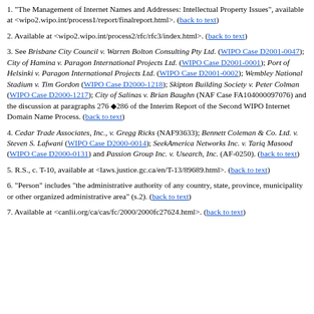1. "The Management of Internet Names and Addresses: Intellectual Property Issues", available at <wipo2.wipo.int/process1/report/finalreport.html>. (back to text)
2. Available at <wipo2.wipo.int/process2/rfc/rfc3/index.html>. (back to text)
3. See Brisbane City Council v. Warren Bolton Consulting Pty Ltd. (WIPO Case D2001-0047); City of Hamina v. Paragon International Projects Ltd. (WIPO Case D2001-0001); Port of Helsinki v. Paragon International Projects Ltd. (WIPO Case D2001-0002); Wembley National Stadium v. Tim Gordon (WIPO Case D2000-1218); Skipton Building Society v. Peter Colman (WIPO Case D2000-1217); City of Salinas v. Brian Baughn (NAF Case FA104000097076) and the discussion at paragraphs 276 –286 of the Interim Report of the Second WIPO Internet Domain Name Process. (back to text)
4. Cedar Trade Associates, Inc., v. Gregg Ricks (NAF93633); Bennett Coleman & Co. Ltd. v. Steven S. Lafwani (WIPO Case D2000-0014); SeekAmerica Networks Inc. v. Tariq Masood (WIPO Case D2000-0131) and Passion Group Inc. v. Usearch, Inc. (AF-0250). (back to text)
5. R.S., c. T-10, available at <laws.justice.gc.ca/en/T-13/89689.html>. (back to text)
6. "Person" includes "the administrative authority of any country, state, province, municipality or other organized administrative area" (s.2). (back to text)
7. Available at <canlii.org/ca/cas/fc/2000/2000fc27624.html>. (back to text)